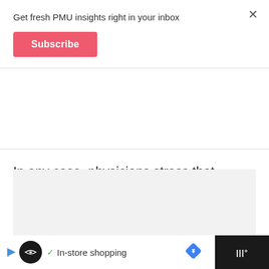Get fresh PMU insights right in your inbox
Subscribe
In any case, physicians stress that permanent makeup is no reason to avoid an MRI. In fact, avoiding it could turn out to be a bigger risk.
[Figure (screenshot): Advertisement banner at bottom with store shopping icon, checkmark, 'In-store shopping' text, navigation arrow icon, and dark right section with Wi-Fi symbol]